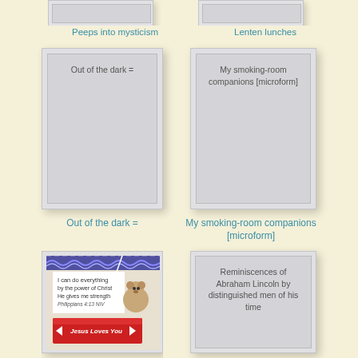[Figure (illustration): Partial top of book cover placeholder for Peeps into mysticism]
Peeps into mysticism
[Figure (illustration): Partial top of book cover placeholder for Lenten lunches]
Lenten lunches
[Figure (illustration): Gray book cover placeholder with text: Out of the dark =]
Out of the dark =
[Figure (illustration): Gray book cover placeholder with text: My smoking-room companions [microform]]
My smoking-room companions [microform]
[Figure (photo): Photo of a Christmas ornament/book with text: I can do everything by the power of Christ He gives me strength, Philippians 4:13 NIV, Jesus Loves You, with a teddy bear]
[Figure (illustration): Gray book cover placeholder with text: Reminiscences of Abraham Lincoln by distinguished men of his time]